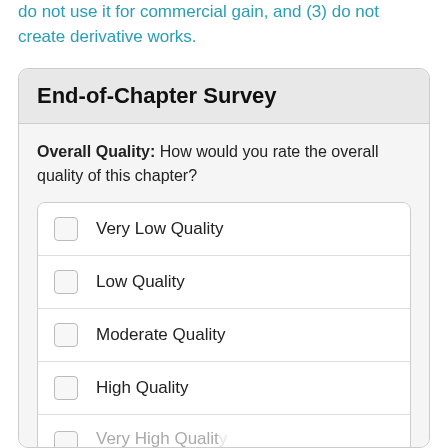do not use it for commercial gain, and (3) do not create derivative works.
End-of-Chapter Survey
Overall Quality: How would you rate the overall quality of this chapter?
Very Low Quality
Low Quality
Moderate Quality
High Quality
Very High Quality